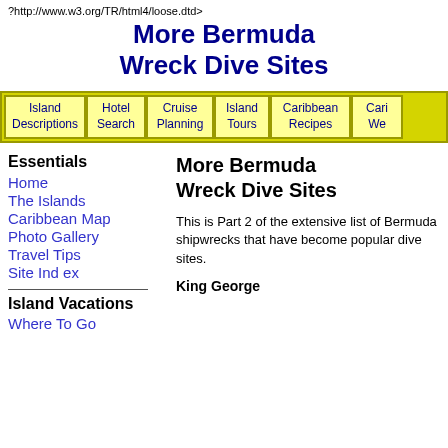?http://www.w3.org/TR/html4/loose.dtd>
More Bermuda Wreck Dive Sites
| Island Descriptions | Hotel Search | Cruise Planning | Island Tours | Caribbean Recipes | Cari We... |
| --- | --- | --- | --- | --- | --- |
Essentials
Home
The Islands
Caribbean Map
Photo Gallery
Travel Tips
Site Ind ex
Island Vacations
Where To Go
More Bermuda Wreck Dive Sites
This is Part 2 of the extensive list of Bermuda shipwrecks that have become popular dive sites.
King George